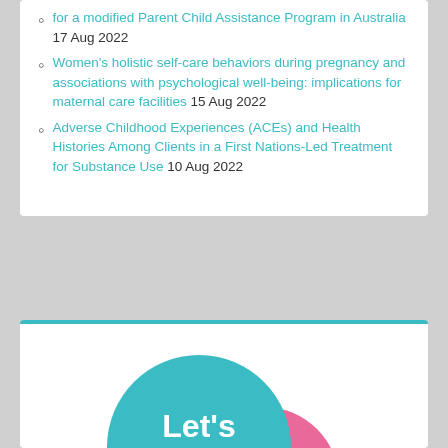for a modified Parent Child Assistance Program in Australia 17 Aug 2022
Women's holistic self-care behaviors during pregnancy and associations with psychological well-being: implications for maternal care facilities 15 Aug 2022
Adverse Childhood Experiences (ACEs) and Health Histories Among Clients in a First Nations-Led Treatment for Substance Use 10 Aug 2022
[Figure (logo): Let's talk logo — large teal speech bubble circle with white text 'Let's talk' partially overlapping a pink circle, on a white background]